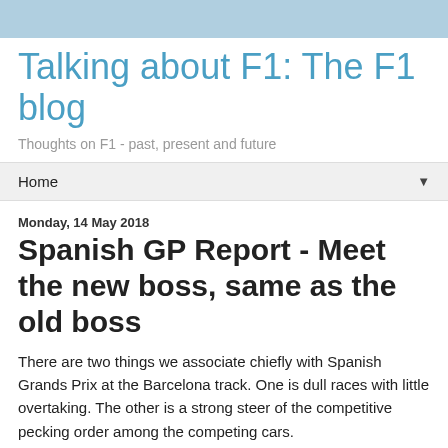Talking about F1: The F1 blog
Thoughts on F1 - past, present and future
Home
Monday, 14 May 2018
Spanish GP Report - Meet the new boss, same as the old boss
There are two things we associate chiefly with Spanish Grands Prix at the Barcelona track. One is dull races with little overtaking. The other is a strong steer of the competitive pecking order among the competing cars.
We certainly got the former this
[Figure (photo): Partial photo showing a racing car or driver helmet with red and white colors, likely from the Spanish Grand Prix]